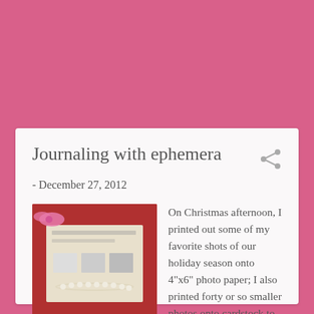Journaling with ephemera
- December 27, 2012
[Figure (photo): Small thumbnail photo showing a Christmas ephemera journal with photos, a red book/album, a pink bow, and pearl decorations.]
On Christmas afternoon, I printed out some of my favorite shots of our holiday season onto 4"x6" photo paper; I also printed forty or so smaller photos onto cardstock to cut up; then, I put them all into this Christmas ephemera journal that I ...
13 comments
READ MORE